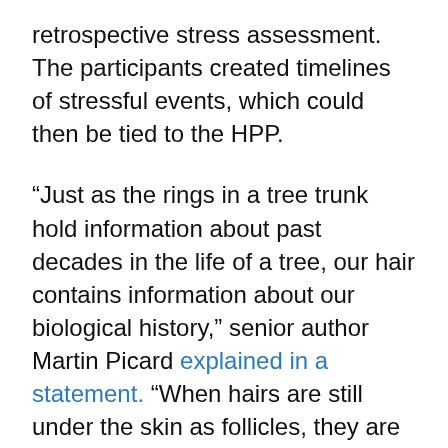retrospective stress assessment. The participants created timelines of stressful events, which could then be tied to the HPP.
“Just as the rings in a tree trunk hold information about past decades in the life of a tree, our hair contains information about our biological history,” senior author Martin Picard explained in a statement. “When hairs are still under the skin as follicles, they are subject to the influence of stress hormones and other things happening in our mind and body. Once hairs grow out of the scalp, they harden and permanently crystallize these exposures into a